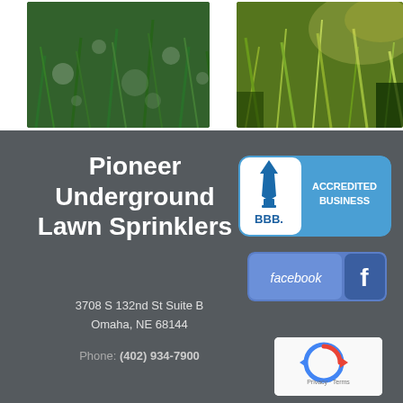[Figure (photo): Close-up photo of green grass/foliage with bokeh water droplets, left panel]
[Figure (photo): Close-up photo of green and yellow grass/foliage in sunlight, right panel]
Pioneer Underground Lawn Sprinklers
3708 S 132nd St Suite B
Omaha, NE 68144
Phone: (402) 934-7900
[Figure (logo): BBB Accredited Business badge - blue rounded rectangle with BBB flame logo and text ACCREDITED BUSINESS]
[Figure (logo): Facebook badge - blue rounded rectangle with facebook text and f logo]
[Figure (logo): Google reCAPTCHA badge with Privacy - Terms text]